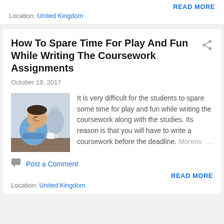READ MORE
Location: United Kingdom
How To Spare Time For Play And Fun While Writing The Coursework Assignments
October 19, 2017
[Figure (photo): A stressed male student sitting at a desk, resting his chin on his hand, with another person blurred in the background.]
It is very difficult for the students to spare some time for play and fun while writing the coursework along with the studies. Its reason is that you will have to write a coursework before the deadline. Moreov...
Post a Comment
READ MORE
Location: United Kingdom